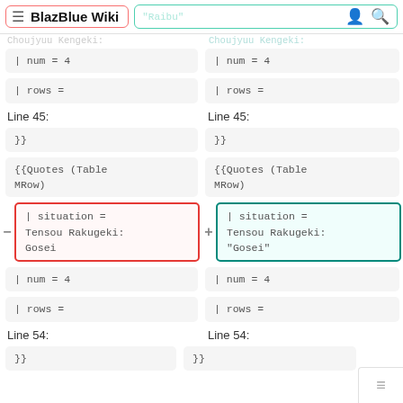BlazBlue Wiki | Choujyuu Kengeki: "Raibu"
| num = 4
| rows =
| num = 4
| rows =
Line 45:
Line 45:
}}
}}
{{Quotes (Table MRow)
{{Quotes (Table MRow)
| situation = Tensou Rakugeki: Gosei
| situation = Tensou Rakugeki: "Gosei"
| num = 4
| num = 4
| rows =
| rows =
Line 54:
Line 54: